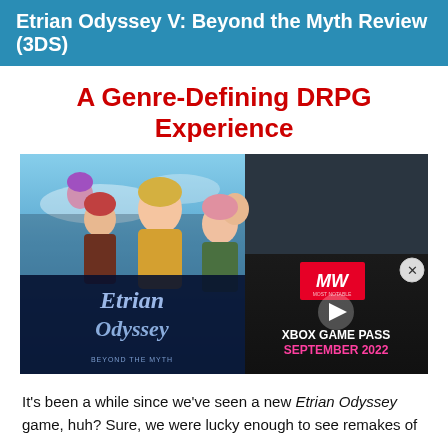Etrian Odyssey V: Beyond the Myth Review (3DS)
A Genre-Defining DRPG Experience
[Figure (screenshot): Screenshot from Etrian Odyssey V showing anime-style characters against a sky background, with the game logo overlay and an Xbox Game Pass September 2022 advertisement overlay on the right side]
It's been a while since we've seen a new Etrian Odyssey game, huh? Sure, we were lucky enough to see remakes of